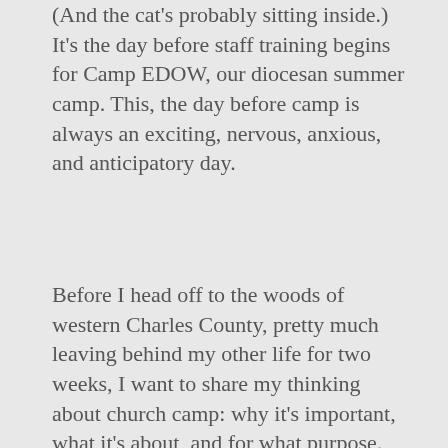(And the cat's probably sitting inside.)  It's the day before staff training begins for Camp EDOW, our diocesan summer camp.  This, the day before camp is always an exciting, nervous, anxious, and anticipatory day.
Before I head off to the woods of western Charles County, pretty much leaving behind my other life for two weeks, I want to share my thinking about church camp: why it's important, what it's about, and for what purpose.  Maybe I'm doing this merely for myself, just as well, for in spite of the fact